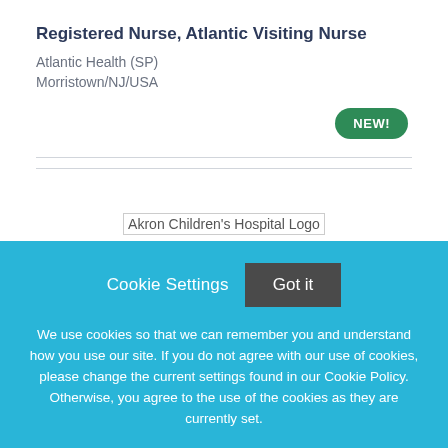Registered Nurse, Atlantic Visiting Nurse
Atlantic Health (SP)
Morristown/NJ/USA
[Figure (other): NEW! badge — green rounded pill button]
[Figure (logo): Akron Children's Hospital Logo (broken image placeholder)]
Cookie Settings  Got it
We use cookies so that we can remember you and understand how you use our site. If you do not agree with our use of cookies, please change the current settings found in our Cookie Policy. Otherwise, you agree to the use of the cookies as they are currently set.